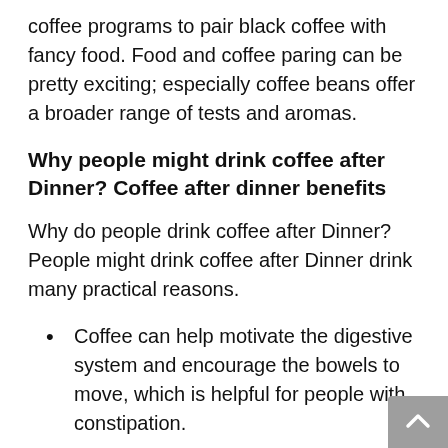coffee programs to pair black coffee with fancy food. Food and coffee paring can be pretty exciting; especially coffee beans offer a broader range of tests and aromas.
Why people might drink coffee after Dinner? Coffee after dinner benefits
Why do people drink coffee after Dinner? People might drink coffee after Dinner drink many practical reasons.
Coffee can help motivate the digestive system and encourage the bowels to move, which is helpful for people with constipation.